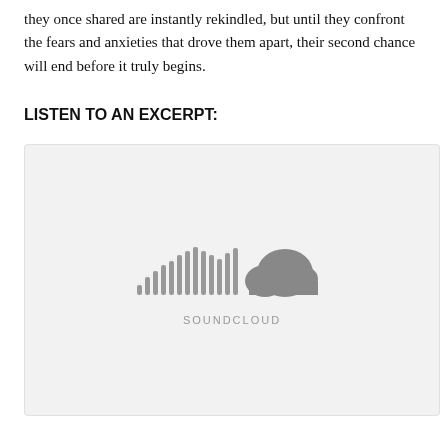they once shared are instantly rekindled, but until they confront the fears and anxieties that drove them apart, their second chance will end before it truly begins.
LISTEN TO AN EXCERPT:
[Figure (other): SoundCloud embedded audio player widget showing the SoundCloud logo (waveform bars and cloud icon) in gray on a light gray background, with the text SOUNDCLOUD below the logo.]